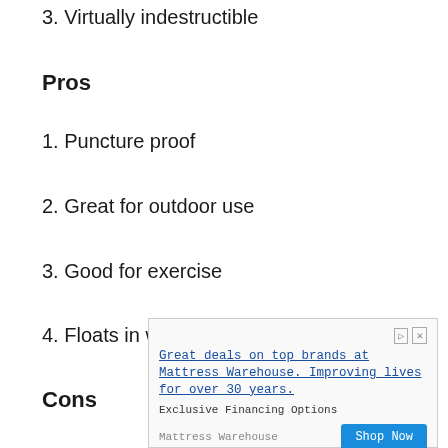3. Virtually indestructible
Pros
1. Puncture proof
2. Great for outdoor use
3. Good for exercise
4. Floats in water
Cons
[Figure (other): Advertisement banner for Mattress Warehouse: 'Great deals on top brands at Mattress Warehouse. Improving lives for over 30 years.' with 'Exclusive Financing Options' subtext and 'Shop Now' button.]